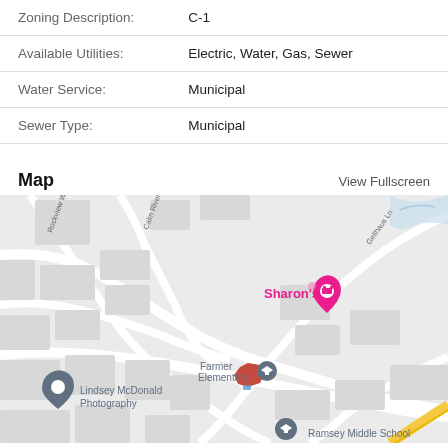| Zoning Description: | C-1 |
| Available Utilities: | Electric, Water, Gas, Sewer |
| Water Service: | Municipal |
| Sewer Type: | Municipal |
Map
View Fullscreen
[Figure (map): Street map showing area around property near Farmer Elementary School, Ramsey Middle School, Lindsey McDonald Photography, and Sharon's. Red parcel marker shown at property location near intersection. Street labels include Rockview Way, Calm River Way, Gellhaus Ln.]